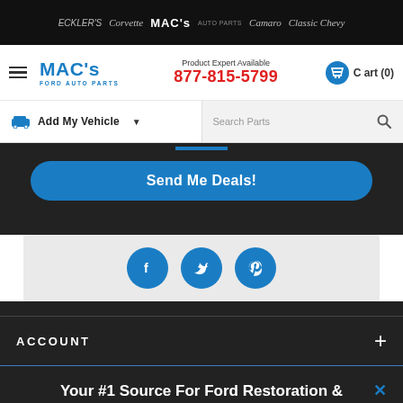ECKLER'S | Corvette | MAC's AUTO PARTS | Camaro | Classic Chevy
[Figure (logo): MAC's Ford Auto Parts logo with blue text]
Product Expert Available 877-815-5799
Cart (0)
Add My Vehicle
Search Parts
Send Me Deals!
[Figure (infographic): Social media icons: Facebook, Twitter, Pinterest in blue circles]
ACCOUNT
Your #1 Source For Ford Restoration & Restomod Parts!